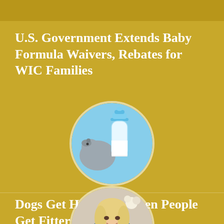U.S. Government Extends Baby Formula Waivers, Rebates for WIC Families
[Figure (photo): Circular photo of a baby bottle filled with milk next to a gray stuffed elephant toy on a light blue background]
Dogs Get Healthier When People Get Fitter
[Figure (photo): Circular photo of a blonde woman smiling, partially cropped at bottom of page, with flowers visible in the background]